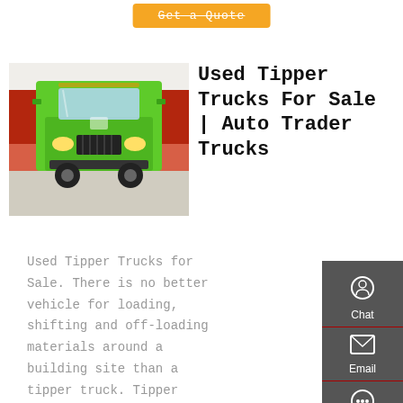Get a Quote
[Figure (photo): Front view of a bright green tipper truck parked indoors, with red trucks visible in the background.]
Used Tipper Trucks For Sale | Auto Trader Trucks
Used Tipper Trucks for Sale. There is no better vehicle for loading, shifting and off-loading materials around a building site than a tipper truck. Tipper trucks come in a variety of sizes and you can